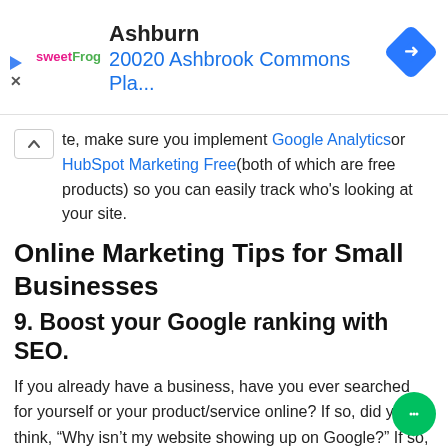[Figure (screenshot): Ad banner for sweetFrog frozen yogurt showing Ashburn location at 20020 Ashbrook Commons Pla... with a blue navigation diamond icon on the right and play/close icons on the left]
te, make sure you implement Google Analytics or HubSpot Marketing Free (both of which are free products) so you can easily track who's looking at your site.
Online Marketing Tips for Small Businesses
9. Boost your Google ranking with SEO.
If you already have a business, have you ever searched for yourself or your product/service online? If so, did you think, “Why isn’t my website showing up on Google?” If so, you probably thought, “How do I rank on Google?” or “How can I improve my Google ranking?”